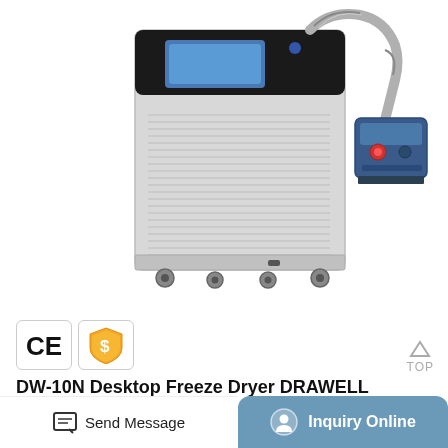[Figure (photo): DW-10N Desktop Freeze Dryer product photo showing a compact gray/white unit with ventilation grilles on a wheeled base, connected by flexible hose to a blue vacuum pump unit. CE and price badge icons shown below the product image.]
DW-10N Desktop Freeze Dryer DRAWELL
DW-10N Desktop Freeze Dryer . N series freeze-drying machine is compact, with large-scale freeze dryer flexibility, less space, can handle more flexible samples, cost-effective. Suitable for small laboratory, and can choose a variety of configurations. Multi-type: 1. Ordinary type:
Send Message   Inquiry Online